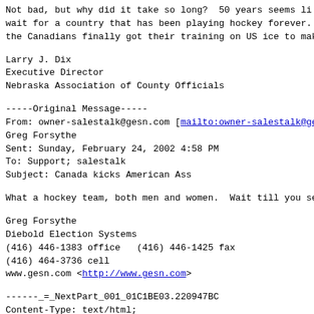Not bad, but why did it take so long?  50 years seems li
wait for a country that has been playing hockey forever.
the Canadians finally got their training on US ice to mak
Larry J. Dix
Executive Director
Nebraska Association of County Officials
-----Original Message-----
From: owner-salestalk@gesn.com [mailto:owner-salestalk@ge
Greg Forsythe
Sent: Sunday, February 24, 2002 4:58 PM
To: Support; salestalk
Subject: Canada kicks American Ass
What a hockey team, both men and women.  Wait till you se
Greg Forsythe
Diebold Election Systems
(416) 446-1383 office   (416) 446-1425 fax
(416) 464-3736 cell
www.gesn.com <http://www.gesn.com>
------_=_NextPart_001_01C1BE03.220947BC
Content-Type: text/html;
        charset="windows-1252"
Content-Transfer-Encoding: quoted-printable
<!DOCTYPE HTML PUBLIC "-//W3C//DTD HTML 4.0 Transitional